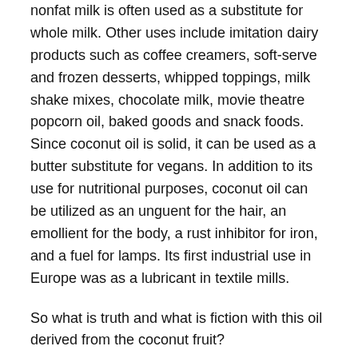nonfat milk is often used as a substitute for whole milk. Other uses include imitation dairy products such as coffee creamers, soft-serve and frozen desserts, whipped toppings, milk shake mixes, chocolate milk, movie theatre popcorn oil, baked goods and snack foods.  Since coconut oil is solid, it can be used as a butter substitute for vegans.  In addition to its use for nutritional purposes, coconut oil can be utilized as an unguent for the hair, an emollient for the body, a rust inhibitor for iron, and a fuel for lamps. Its first industrial use in Europe was as a lubricant in textile mills.
So what is truth and what is fiction with this oil derived from the coconut fruit?
The following are facts about coconut oil:
More than 90% of its fat is saturated fat as opposed to